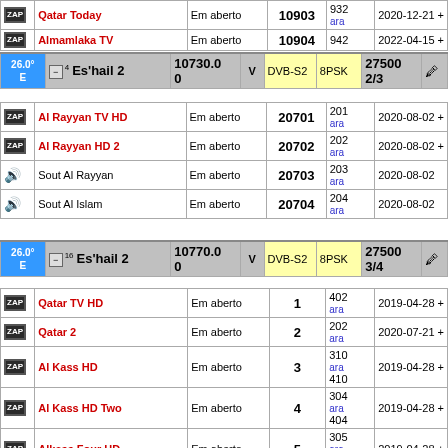| Icon | Channel | Encryption | SID | PIDs | Date |
| --- | --- | --- | --- | --- | --- |
| ZAP | Qatar Today | Em aberto | 10903 | 932 ara | 2020-12-21 + |
| ZAP | Almamlaka TV | Em aberto | 10904 | 942 | 2022-04-15 + |
| Pos | Satellite | Frequency | Pol | System | Modulation | SR FEC |
| --- | --- | --- | --- | --- | --- | --- |
| 26.0° E | -4 Es'hail 2 | 10730.00 | V | DVB-S2 | 8PSK | 27500 2/3 |
| Icon | Channel | Encryption | SID | PIDs | Date |
| --- | --- | --- | --- | --- | --- |
| ZAP | Al Rayyan TV HD | Em aberto | 20701 | 201 ara | 2020-08-02 + |
| ZAP | Al Rayyan HD 2 | Em aberto | 20702 | 202 ara | 2020-08-02 + |
| audio | Sout Al Rayyan | Em aberto | 20703 | 203 ara | 2020-08-02 |
| audio | Sout Al Islam | Em aberto | 20704 | 204 ara | 2020-08-02 |
| Pos | Satellite | Frequency | Pol | System | Modulation | SR FEC |
| --- | --- | --- | --- | --- | --- | --- |
| 26.0° E | -16 Es'hail 2 | 10770.00 | V | DVB-S2 | 8PSK | 27500 3/4 |
| Icon | Channel | Encryption | SID | PIDs | Date |
| --- | --- | --- | --- | --- | --- |
| ZAP | Qatar TV HD | Em aberto | 1 | 402 ara | 2019-04-28 + |
| ZAP | Qatar 2 | Em aberto | 2 | 202 ara | 2020-07-21 + |
| ZAP | Al Kass HD | Em aberto | 3 | 310 ara 410 | 2019-04-28 + |
| ZAP | Al Kass HD Two | Em aberto | 4 | 304 ara 404 | 2019-04-28 + |
| ZAP | Alkass Four HD | Em aberto | 5 | 305 ara 405 | 2019-04-28 + |